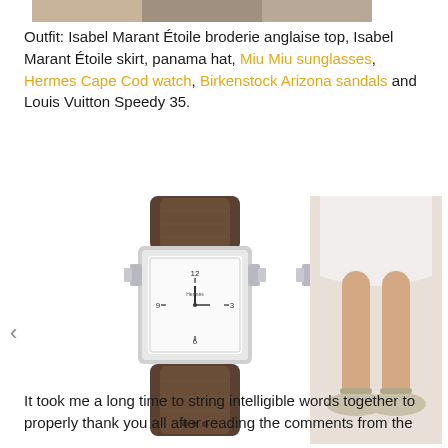[Figure (photo): Partial top image strip showing fashion outfit photo]
Outfit: Isabel Marant Étoile broderie anglaise top, Isabel Marant Étoile skirt, panama hat, Miu Miu sunglasses, Hermes Cape Cod watch, Birkenstock Arizona sandals and Louis Vuitton Speedy 35.
[Figure (photo): Hermes Cape Cod watch with brown leather double wrap strap, white dial]
[Figure (photo): Hermes Cape Cod watch with black leather double wrap strap, white dial]
[Figure (photo): Person wearing white dress with Birkenstock Arizona sandals, legs and feet visible]
It took me a long time to string intelligible words together to properly thank you all after reading the comments from the